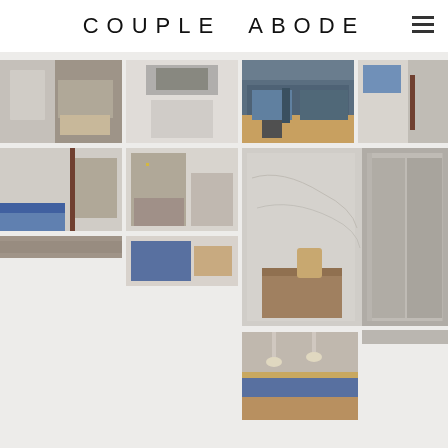COUPLE ABODE
[Figure (photo): Interior room with marble wall and wooden dresser]
[Figure (photo): Ceiling view of room interior]
[Figure (photo): Modern kitchen with blue cabinets and stainless refrigerator]
[Figure (photo): Hallway/corridor with framed artwork]
[Figure (photo): Room with blue cabinetry and wooden wardrobe]
[Figure (photo): Bedroom with recliner chair and bed]
[Figure (photo): Large marble wall panel with wooden console detail]
[Figure (photo): Partial room wall with blue accent]
[Figure (photo): Kitchen/dining with pendant lights and blue island]
[Figure (photo): Narrow strip of room interior]